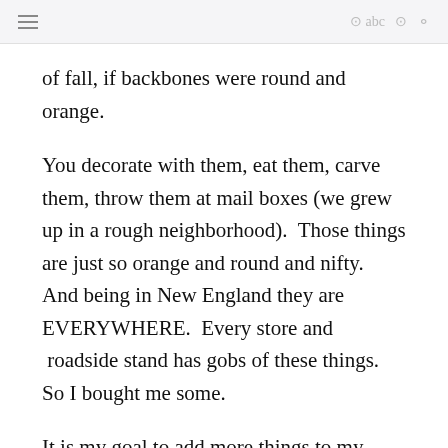of fall, if backbones were round and orange.
You decorate with them, eat them, carve them, throw them at mail boxes (we grew up in a rough neighborhood). Those things are just so orange and round and nifty.  And being in New England they are EVERYWHERE. Every store and  roadside stand has gobs of these things.  So I bought me some.
It is my goal to add more things to my